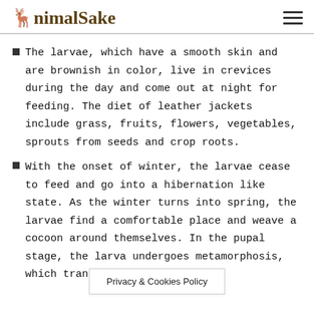AnimalSake
The larvae, which have a smooth skin and are brownish in color, live in crevices during the day and come out at night for feeding. The diet of leather jackets include grass, fruits, flowers, vegetables, sprouts from seeds and crop roots.
With the onset of winter, the larvae cease to feed and go into a hibernation like state. As the winter turns into spring, the larvae find a comfortable place and weave a cocoon around themselves. In the pupal stage, the larva undergoes metamorphosis, which transforms it into
Privacy & Cookies Policy